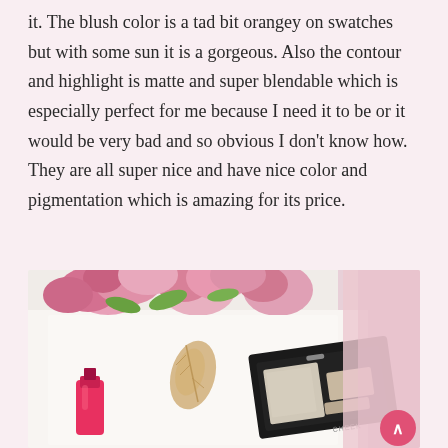it. The blush color is a tad bit orangey on swatches but with some sun it is a gorgeous. Also the contour and highlight is matte and super blendable which is especially perfect for me because I need it to be or it would be very bad and so obvious I don't know how. They are all super nice and have nice color and pigmentation which is amazing for its price.
[Figure (photo): Flat lay photo showing pink roses in the background, a black makeup compact (cheek palette) in the lower right, and a pink nail polish bottle in the lower left, on a white surface with gold leaf decorations.]